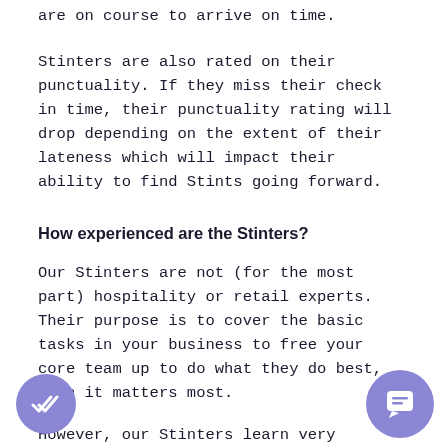are on course to arrive on time.
Stinters are also rated on their punctuality. If they miss their check in time, their punctuality rating will drop depending on the extent of their lateness which will impact their ability to find Stints going forward.
How experienced are the Stinters?
Our Stinters are not (for the most part) hospitality or retail experts. Their purpose is to cover the basic tasks in your business to free your core team up to do what they do best, when it matters most.
However, our Stinters learn very quickly, and